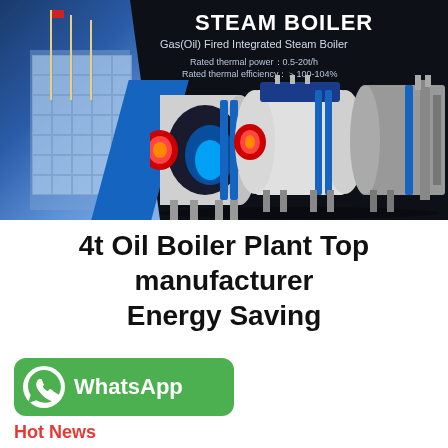[Figure (photo): Steam boiler product banner with dark background showing three Gas(Oil) Fired Integrated Steam Boilers and a blue industrial building on the left with flagpoles. Text overlay: STEAM BOILER, Gas(Oil) Fired Integrated Steam Boiler, Rated thermal power: 0.5-20t/h, Rated thermal efficiency: > 100-104%]
4t Oil Boiler Plant Top manufacturer Energy Saving
[Figure (logo): WhatsApp green button with phone icon and text WhatsApp]
Hot News